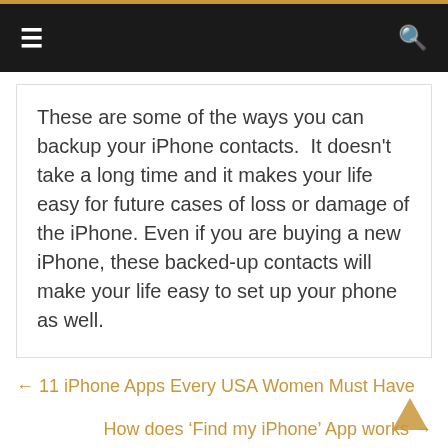≡  [menu]  [search]
These are some of the ways you can backup your iPhone contacts.  It doesn't take a long time and it makes your life easy for future cases of loss or damage of the iPhone. Even if you are buying a new iPhone, these backed-up contacts will make your life easy to set up your phone as well.
← 11 iPhone Apps Every USA Women Must Have
How does 'Find my iPhone' App works →